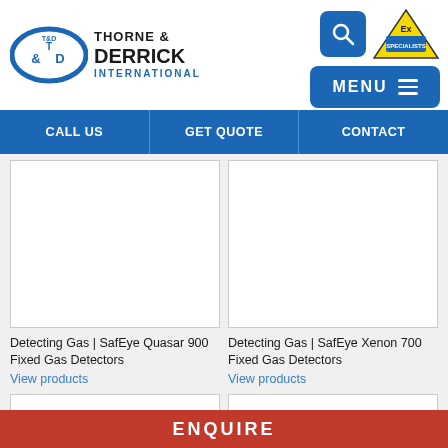[Figure (logo): Thorne & Derrick International logo with T&D oval emblem, search button, Ex Specialists badge, and MENU button]
CALL US | GET QUOTE | CONTACT
[Figure (photo): Product image for SafEye Quasar 900 Fixed Gas Detectors (white/blank area)]
Detecting Gas | SafEye Quasar 900 Fixed Gas Detectors
View products
[Figure (photo): Product image for SafEye Xenon 700 Fixed Gas Detectors (white/blank area)]
Detecting Gas | SafEye Xenon 700 Fixed Gas Detectors
View products
[Figure (photo): Partial product image (bottom row, left)]
[Figure (photo): Partial product image (bottom row, right)]
ENQUIRE